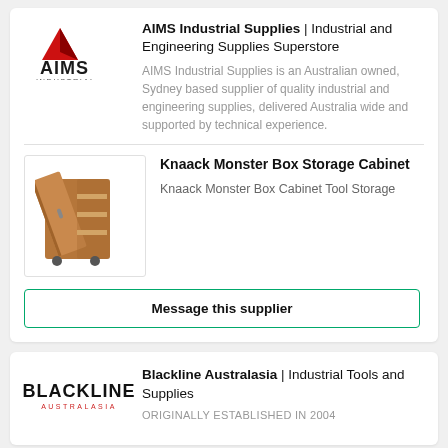[Figure (logo): AIMS Industrial logo with red arrow and INDUSTRIAL text]
AIMS Industrial Supplies | Industrial and Engineering Supplies Superstore
AIMS Industrial Supplies is an Australian owned, Sydney based supplier of quality industrial and engineering supplies, delivered Australia wide and supported by technical experience.
[Figure (photo): Knaack Monster Box Storage Cabinet open showing shelves inside]
Knaack Monster Box Storage Cabinet
Knaack Monster Box Cabinet Tool Storage
Message this supplier
[Figure (logo): Blackline Australasia logo in bold black text with red subtitle]
Blackline Australasia | Industrial Tools and Supplies
ORIGINALLY ESTABLISHED IN 2004